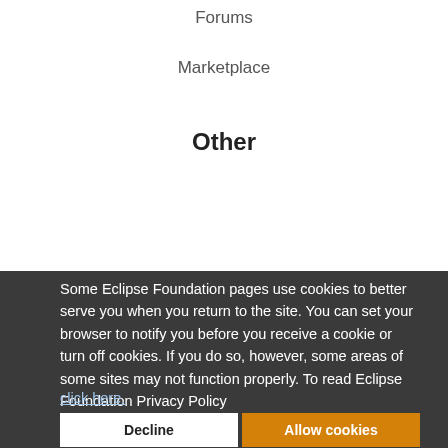Forums
Marketplace
Other
Some Eclipse Foundation pages use cookies to better serve you when you return to the site. You can set your browser to notify you before you receive a cookie or turn off cookies. If you do so, however, some areas of some sites may not function properly. To read Eclipse Foundation Privacy Policy click here.
Decline
Allow cookies